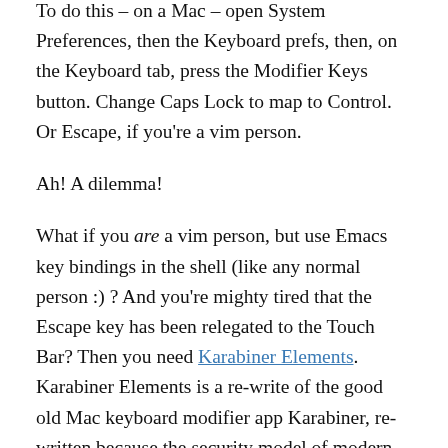To do this – on a Mac – open System Preferences, then the Keyboard prefs, then, on the Keyboard tab, press the Modifier Keys button. Change Caps Lock to map to Control. Or Escape, if you're a vim person.
Ah! A dilemma!
What if you are a vim person, but use Emacs key bindings in the shell (like any normal person :) ? And you're mighty tired that the Escape key has been relegated to the Touch Bar? Then you need Karabiner Elements. Karabiner Elements is a re-write of the good old Mac keyboard modifier app Karabiner, re-written because the security model of modern macOS was incompatible with the app as it